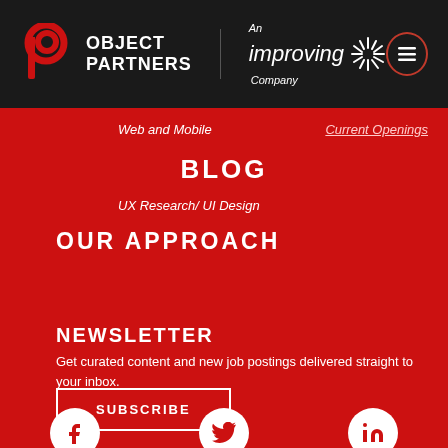[Figure (logo): Object Partners logo with red P icon, and 'An Improving Company' branding on dark background header]
Web and Mobile
Current Openings
BLOG
UX Research/ UI Design
OUR APPROACH
NEWSLETTER
Get curated content and new job postings delivered straight to your inbox.
SUBSCRIBE
[Figure (illustration): Social media icons: Facebook, Twitter, LinkedIn in white circles on red background]